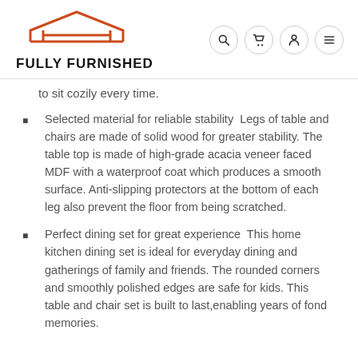FULLY FURNISHED
to sit cozily every time.
Selected material for reliable stability  Legs of table and chairs are made of solid wood for greater stability. The table top is made of high-grade acacia veneer faced MDF with a waterproof coat which produces a smooth surface. Anti-slipping protectors at the bottom of each leg also prevent the floor from being scratched.
Perfect dining set for great experience  This home kitchen dining set is ideal for everyday dining and gatherings of family and friends. The rounded corners and smoothly polished edges are safe for kids. This table and chair set is built to last,enabling years of fond memories.